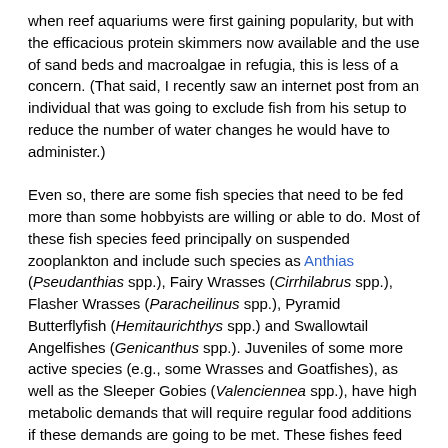when reef aquariums were first gaining popularity, but with the efficacious protein skimmers now available and the use of sand beds and macroalgae in refugia, this is less of a concern. (That said, I recently saw an internet post from an individual that was going to exclude fish from his setup to reduce the number of water changes he would have to administer.)
Even so, there are some fish species that need to be fed more than some hobbyists are willing or able to do. Most of these fish species feed principally on suspended zooplankton and include such species as Anthias (Pseudanthias spp.), Fairy Wrasses (Cirrhilabrus spp.), Flasher Wrasses (Paracheilinus spp.), Pyramid Butterflyfish (Hemitaurichthys spp.) and Swallowtail Angelfishes (Genicanthus spp.). Juveniles of some more active species (e.g., some Wrasses and Goatfishes), as well as the Sleeper Gobies (Valenciennea spp.), have high metabolic demands that will require regular food additions if these demands are going to be met. These fishes feed throughout the day and are unlikely to find enough naturally-occurring food source in the closed marine system.
[Figure (photo): Close-up photograph of a brightly colored red and orange marine fish (likely a Flasher Wrasse or Fairy Wrasse) against a dark background with coral/rock texture visible.]